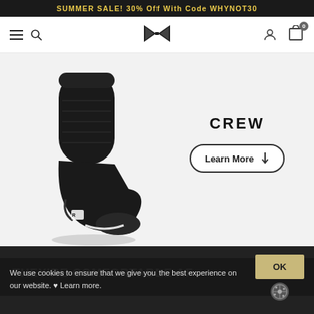SUMMER SALE! 30% Off With Code WHYNOT30
[Figure (screenshot): Navigation bar with hamburger menu, search icon, bowtie logo, user icon, and shopping cart with badge showing 0]
[Figure (photo): Black crew sock floating on white/light gray background with small white logo on the side]
CREW
Learn More ↓
THEY'RE COMFORTABLE AF
High quality...
We use cookies to ensure that we give you the best experience on our website. ♥ Learn more.